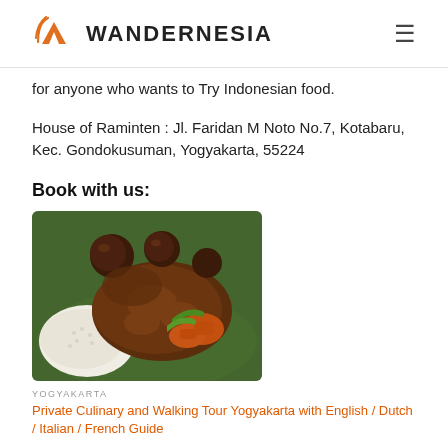WANDERNESIA
for anyone who wants to Try Indonesian food.
House of Raminten : Jl. Faridan M Noto No.7, Kotabaru, Kec. Gondokusuman, Yogyakarta, 55224
Book with us:
[Figure (photo): A plate of Indonesian food with rice, rendang spiced minced meat, tempeh, vegetables, green chili, and other side dishes served on a banana leaf.]
YOGYAKARTA
Private Culinary and Walking Tour Yogyakarta with English / Dutch / Italian / French Guide